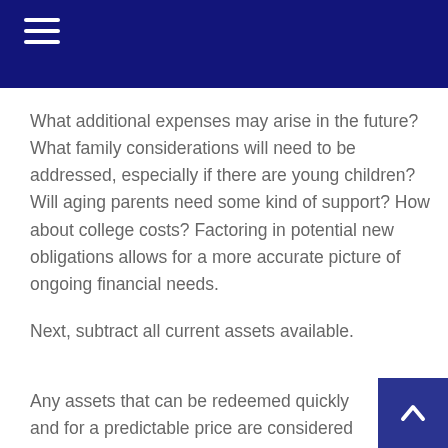What additional expenses may arise in the future? What family considerations will need to be addressed, especially if there are young children? Will aging parents need some kind of support? How about college costs? Factoring in potential new obligations allows for a more accurate picture of ongoing financial needs.
Next, subtract all current assets available.
Any assets that can be redeemed quickly and for a predictable price are considered liquid. Generally, houses and cars are not considered liquid assets since time may